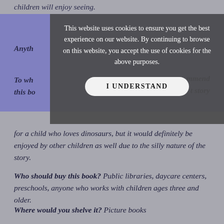children will enjoy seeing.
Anyth[ing …]
To wh[om would you rec]ommend this bo[ok? …] t story for a ch[ild who loves dinosaurs, but it would definitely be] enjoyed by other children as well due to the silly nature of the story.
[Figure (screenshot): Cookie consent modal overlay with text: 'This website uses cookies to ensure you get the best experience on our website. By continuing to browse on this website, you accept the use of cookies for the above purposes.' and a button labeled 'I UNDERSTAND']
Who should buy this book? Public libraries, daycare centers, preschools, anyone who works with children ages three and older.
Where would you shelve it? Picture books
Should we (librarians) put this on the top of our “to read”